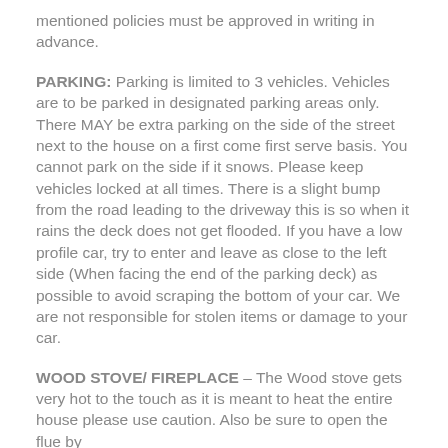mentioned policies must be approved in writing in advance.
PARKING: Parking is limited to 3 vehicles. Vehicles are to be parked in designated parking areas only. There MAY be extra parking on the side of the street next to the house on a first come first serve basis. You cannot park on the side if it snows. Please keep vehicles locked at all times. There is a slight bump from the road leading to the driveway this is so when it rains the deck does not get flooded. If you have a low profile car, try to enter and leave as close to the left side (When facing the end of the parking deck) as possible to avoid scraping the bottom of your car. We are not responsible for stolen items or damage to your car.
WOOD STOVE/ FIREPLACE – The Wood stove gets very hot to the touch as it is meant to heat the entire house please use caution. Also be sure to open the flue by